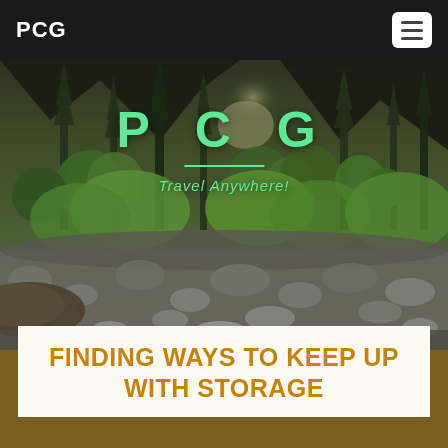PCG
[Figure (photo): Forest landscape with tall evergreen trees, sunlight, and a rocky riverbed in the foreground. Overlaid with large green 'P C G' lettering and italic subtitle 'Travel Anywhere!']
FINDING WAYS TO KEEP UP WITH STORAGE